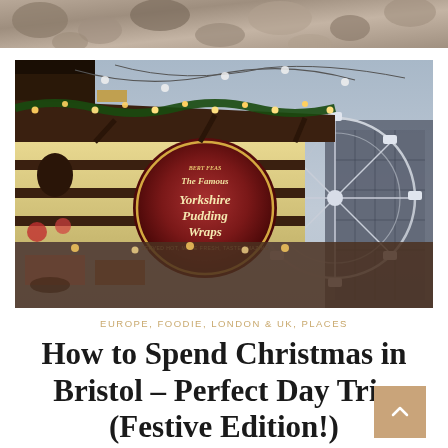[Figure (photo): Partial top photo strip showing blurred rocks/pebbles background]
[Figure (photo): Christmas market scene in Bristol at dusk. A food stall with a large round sign reading 'The Famous Yorkshire Pudding Wraps' decorated with Christmas lights and garland. A Ferris wheel is visible in the background against a grey sky.]
EUROPE, FOODIE, LONDON & UK, PLACES
How to Spend Christmas in Bristol – Perfect Day Trip (Festive Edition!)